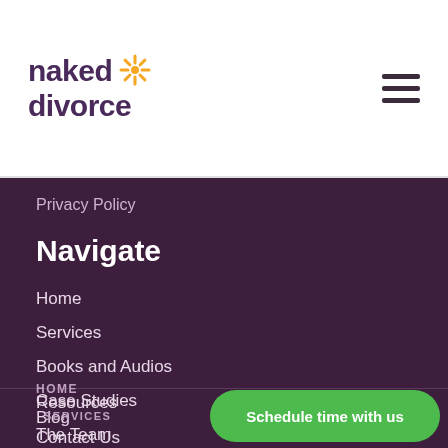[Figure (logo): Naked Divorce logo with orange star/sun icon and purple text]
Privacy Policy
Navigate
Home
Services
Books and Audios
Case Studies
The Team
HOME
Resources
Blog
  SERVICES
Contact Us
Schedule time with us